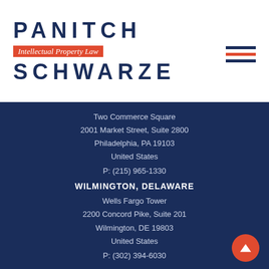[Figure (logo): Panitch Schwarze Intellectual Property Law firm logo with navy blue text and red badge]
Two Commerce Square
2001 Market Street, Suite 2800
Philadelphia, PA 19103
United States
P: (215) 965-1330
WILMINGTON, DELAWARE
Wells Fargo Tower
2200 Concord Pike, Suite 201
Wilmington, DE 19803
United States
P: (302) 394-6030
Team
Expertise
Knowledge Center
About
Careers
Contact